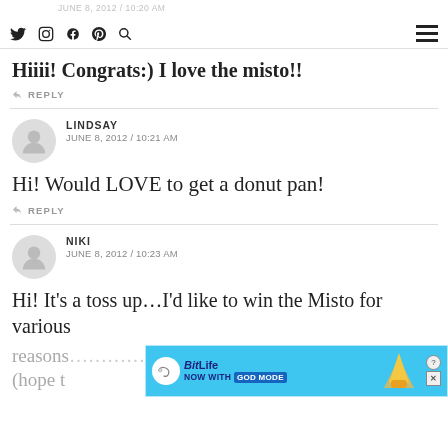JUNE 8, 2012 / 10:20 AM — social icons and hamburger menu
Hiiii! Congrats:) I love the misto!!
REPLY
LINDSAY
JUNE 8, 2012 / 10:21 AM
Hi! Would LOVE to get a donut pan!
REPLY
NIKI
JUNE 8, 2012 / 10:23 AM
Hi! It's a toss up…I'd like to win the Misto for various reasons...mold (hope t
[Figure (screenshot): BitLife advertisement banner with 'NOW WITH GOD MODE' text and cartoon hand graphic]